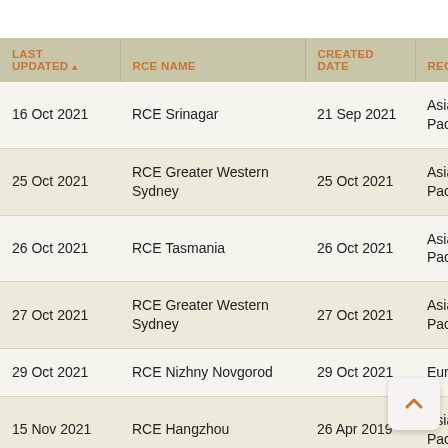| LAST UPDATED ▲ | RCE NAME | CREATED DATE | REGION |
| --- | --- | --- | --- |
| 16 Oct 2021 | RCE Srinagar | 21 Sep 2021 | Asia-Pacific |
| 25 Oct 2021 | RCE Greater Western Sydney | 25 Oct 2021 | Asia-Pacific |
| 26 Oct 2021 | RCE Tasmania | 26 Oct 2021 | Asia-Pacific |
| 27 Oct 2021 | RCE Greater Western Sydney | 27 Oct 2021 | Asia-Pacific |
| 29 Oct 2021 | RCE Nizhny Novgorod | 29 Oct 2021 | Europe |
| 15 Nov 2021 | RCE Hangzhou | 26 Apr 2019 | Asia-Pacific |